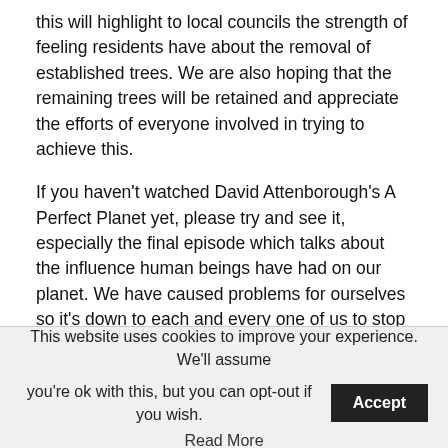this will highlight to local councils the strength of feeling residents have about the removal of established trees. We are also hoping that the remaining trees will be retained and appreciate the efforts of everyone involved in trying to achieve this.
If you haven't watched David Attenborough's A Perfect Planet yet, please try and see it, especially the final episode which talks about the influence human beings have had on our planet. We have caused problems for ourselves so it's down to each and every one of us to stop doing the damage.
Three actions you can take to help our little bit of the planet:
Join in with #LoveWhereYouLive litter pick Fridays as part of your daily exercise. Share your photos on the Love
This website uses cookies to improve your experience. We'll assume you're ok with this, but you can opt-out if you wish. Accept
Read More